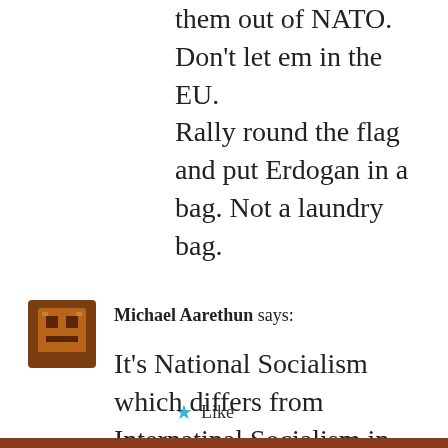them out of NATO. Don't let em in the EU.
Rally round the flag and put Erdogan in a bag. Not a laundry bag.
Like
[Figure (other): Pixel art avatar icon for Michael Aarethun, brown/tan colors]
Michael Aarethun says:
It's National Socialism which differs from Internatinal Socialism in only a few small areas. Economics is primary